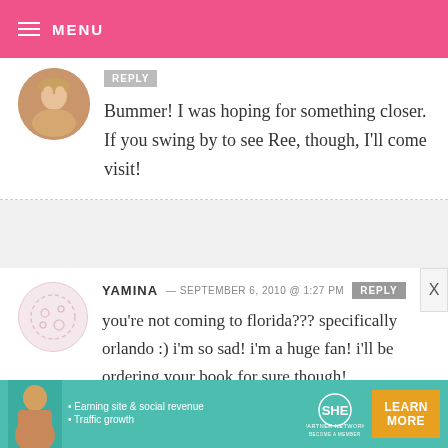MENU
Bummer! I was hoping for something closer. If you swing by to see Ree, though, I'll come visit!
YAMINA — SEPTEMBER 6, 2010 @ 1:27 PM REPLY
you're not coming to florida??? specifically orlando :) i'm so sad! i'm a huge fan! i'll be ordering your book for sure though!
[Figure (infographic): SHE Partner Network advertisement banner with person, bullets: Earning site & social revenue, Traffic growth, SHE logo, LEARN MORE button]